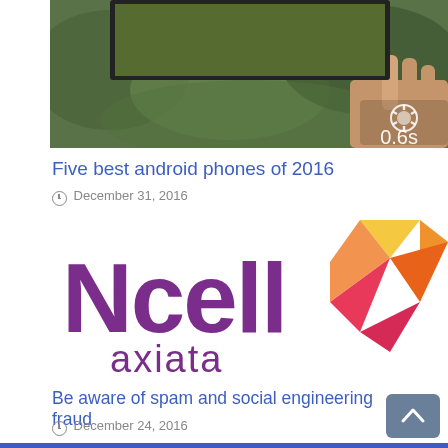[Figure (photo): Person holding a smartphone, blurred background, with camera shutter icon and '0.6s' timer overlay in bottom-right corner]
Five best android phones of 2016
December 31, 2016
[Figure (logo): Ncell axiata logo — purple 'Ncell' wordmark with multicolored geometric chevron/arrow symbol in orange, yellow, pink, and red on the right side, and 'axiata' text below]
Be aware of spam and social engineering fraud
December 24, 2016